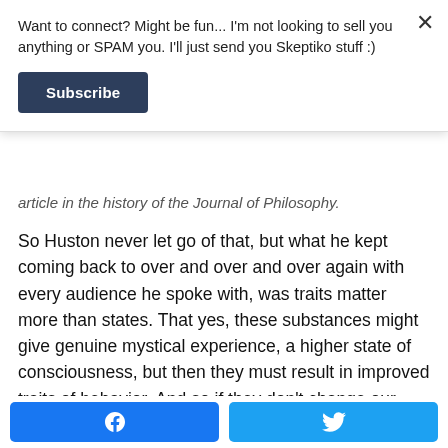Want to connect? Might be fun... I'm not looking to sell you anything or SPAM you. I'll just send you Skeptiko stuff :)
Subscribe
article in the history of the Journal of Philosophy.
So Huston never let go of that, but what he kept coming back to over and over and over again with every audience he spoke with, was traits matter more than states. That yes, these substances might give genuine mystical experience, a higher state of consciousness, but then they must result in improved traits of behavior. And so if they don't change our traits of behavior in a positive direction that those around us can recognize, then the jury